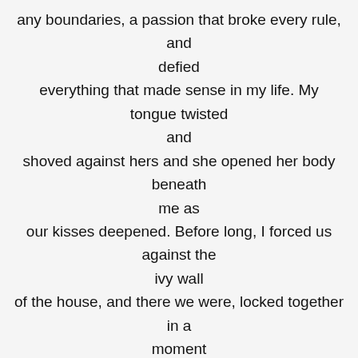any boundaries, a passion that broke every rule, and defied everything that made sense in my life. My tongue twisted and shoved against hers and she opened her body beneath me as our kisses deepened. Before long, I forced us against the ivy wall of the house, and there we were, locked together in a moment that somehow we'd claimed as ours and ours alone. I only broke the kiss when she moaned against my mouth. Something about the sound made me remember where we were. Who I was. What we were doing. How wrong it all was from the